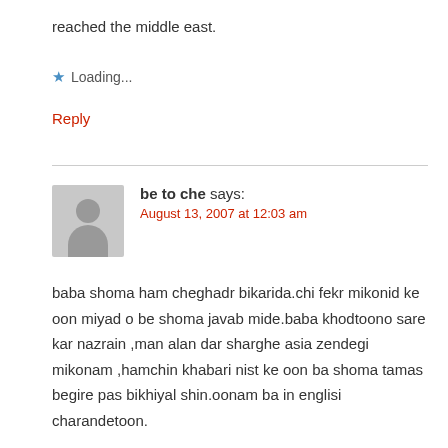reached the middle east.
Loading...
Reply
[Figure (illustration): Grey avatar placeholder icon showing a silhouette of a person]
be to che says:
August 13, 2007 at 12:03 am
baba shoma ham cheghadr bikarida.chi fekr mikonid ke oon miyad o be shoma javab mide.baba khodtoono sare kar nazrain ,man alan dar sharghe asia zendegi mikonam ,hamchin khabari nist ke oon ba shoma tamas begire pas bikhiyal shin.oonam ba in englisi charandetoon.